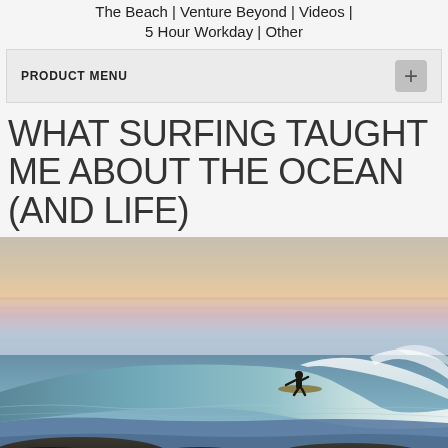The Beach | Venture Beyond | Videos | 5 Hour Workday | Other
PRODUCT MENU
WHAT SURFING TAUGHT ME ABOUT THE OCEAN (AND LIFE)
[Figure (photo): A surfer riding a large ocean wave at sunset/dusk, silhouetted against a pastel sky with pink and blue hues, with white foam and dark rocks in the foreground]